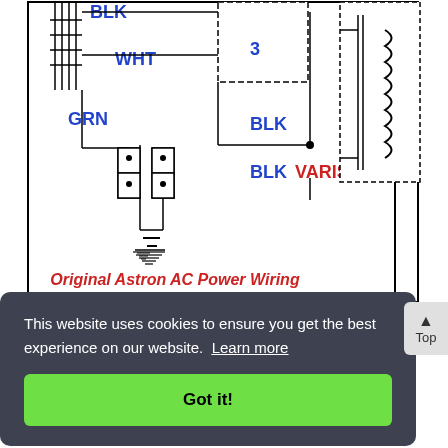[Figure (schematic): Electrical wiring schematic labeled 'Original Astron AC Power Wiring' showing connections with wire color labels: BLK, WHT, GRN, BLK, BLK VARISTOR, and a numbered terminal '3'. Components include a transformer coil, terminal blocks, and ground symbol.]
The regulated output voltage varied as the unregulated DC voltage changed, and that changed as...
This website uses cookies to ensure you get the best experience on our website. Learn more
Got it!